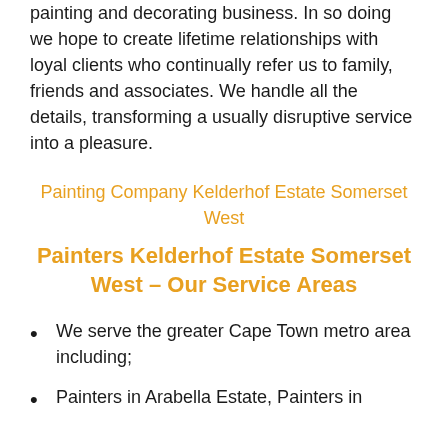painting and decorating business. In so doing we hope to create lifetime relationships with loyal clients who continually refer us to family, friends and associates. We handle all the details, transforming a usually disruptive service into a pleasure.
Painting Company Kelderhof Estate Somerset West
Painters Kelderhof Estate Somerset West – Our Service Areas
We serve the greater Cape Town metro area including;
Painters in Arabella Estate, Painters in